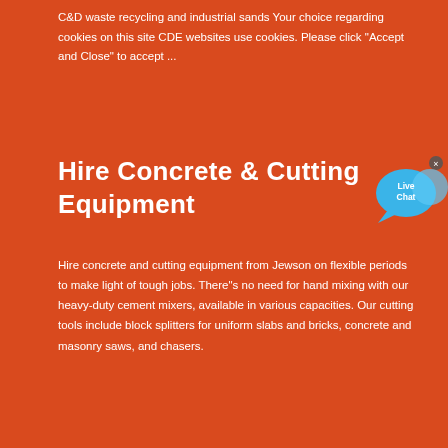C&D waste recycling and industrial sands Your choice regarding cookies on this site CDE websites use cookies. Please click "Accept and Close" to accept ...
Hire Concrete & Cutting Equipment
[Figure (infographic): Live Chat speech bubble icon with 'Live Chat' text and a close (x) button]
Hire concrete and cutting equipment from Jewson on flexible periods to make light of tough jobs. There"s no need for hand mixing with our heavy-duty cement mixers, available in various capacities. Our cutting tools include block splitters for uniform slabs and bricks, concrete and masonry saws, and chasers.